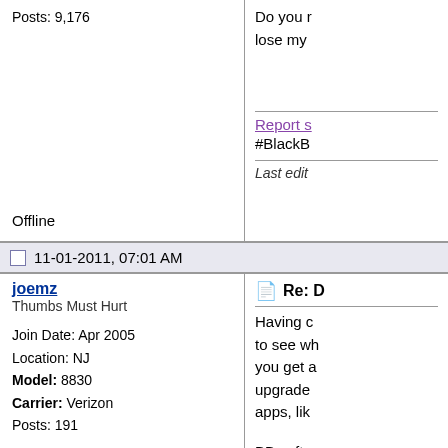Posts: 9,176
Report s... #BlackB... Last edit...
Offline
11-01-2011, 07:01 AM
joemz
Thumbs Must Hurt
Join Date: Apr 2005
Location: NJ
Model: 8830
Carrier: Verizon
Posts: 191
Re: D...
Having d... to see wh... you get a... upgrade ... apps, lik...
BB softw... enough t...
Offline
11-01-2011, 03:49 PM